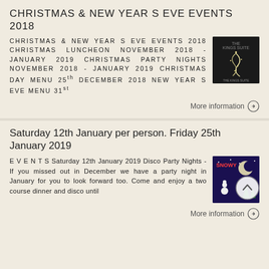CHRISTMAS & NEW YEAR S EVE EVENTS 2018
CHRISTMAS & NEW YEAR S EVE EVENTS 2018 CHRISTMAS LUNCHEON NOVEMBER 2018 - JANUARY 2019 CHRISTMAS PARTY NIGHTS NOVEMBER 2018 - JANUARY 2019 CHRISTMAS DAY MENU 25th DECEMBER 2018 NEW YEAR S EVE MENU 31st
More information
Saturday 12th January per person. Friday 25th January 2019
E V E N T S Saturday 12th January 2019 Disco Party Nights - If you missed out in December we have a party night in January for you to look forward too. Come and enjoy a two course dinner and disco until
More information